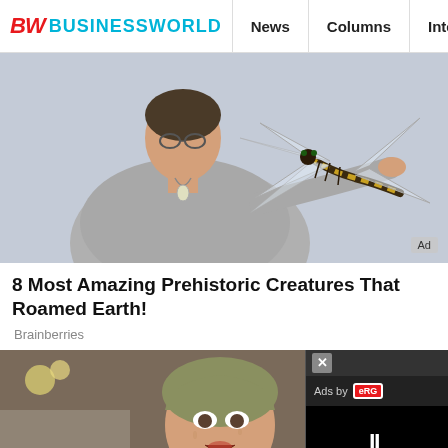BW BUSINESSWORLD | News | Columns | Interviews | BW
[Figure (photo): Woman holding or touching a large dragonfly pinned to a light blue wall. The dragonfly has large transparent wings and a striped body. Ad badge in bottom right corner.]
8 Most Amazing Prehistoric Creatures That Roamed Earth!
Brainberries
[Figure (photo): Woman with wet hair looking alarmed or shocked, appearing to be in a bathtub or bathroom setting with flowers visible. A video player overlay appears on the right side with an 'Ads by eRG' label, close (x) button, and a pause button on a black screen.]